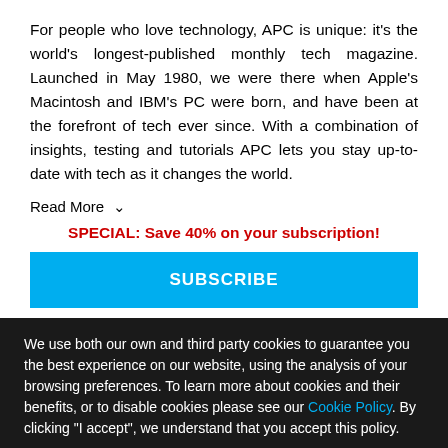For people who love technology, APC is unique: it's the world's longest-published monthly tech magazine. Launched in May 1980, we were there when Apple's Macintosh and IBM's PC were born, and have been at the forefront of tech ever since. With a combination of insights, testing and tutorials APC lets you stay up-to-date with tech as it changes the world.
Read More ∨
SPECIAL: Save 40% on your subscription!
SUBSCRIBE
We use both our own and third party cookies to guarantee you the best experience on our website, using the analysis of your browsing preferences. To learn more about cookies and their benefits, or to disable cookies please see our Cookie Policy. By clicking "I accept", we understand that you accept this policy.
I ACCEPT